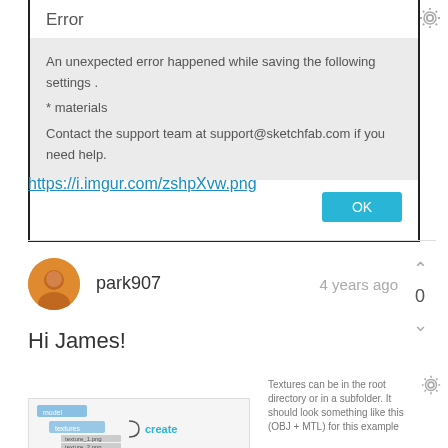Error
An unexpected error happened while saving the following settings .
* materials
Contact the support team at support@sketchfab.com if you need help.
OK
https://i.imgur.com/zshpXvw.png
park907   4 years ago
0
Hi James!
Textures can be in the root directory or in a subfolder. It should look something like this (OBJ + MTL) for this example
[Figure (screenshot): File directory screenshot showing textures folder with texture files and a create button]